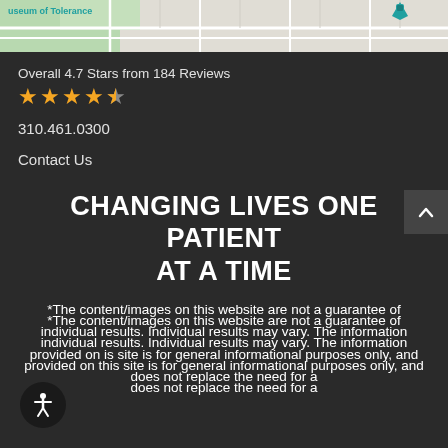[Figure (map): Partial Google Maps screenshot showing Museum of Tolerance area with teal location pin and street grid]
Overall 4.7 Stars from 184 Reviews
★★★★½
310.461.0300
Contact Us
CHANGING LIVES ONE PATIENT AT A TIME
*The content/images on this website are not a guarantee of individual results. Individual results may vary. The information provided on this site is for general informational purposes only, and does not replace the need for a